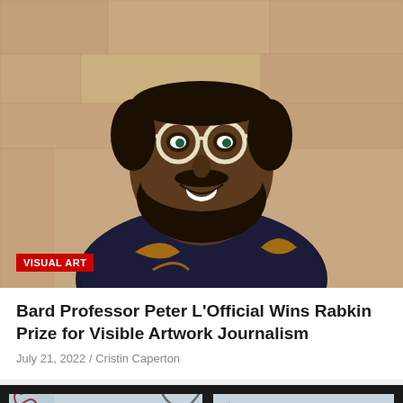[Figure (photo): Portrait photo of a bearded man smiling, wearing round cream-colored glasses and a patterned shirt, standing in front of a tan textured wall]
VISUAL ART
Bard Professor Peter L'Official Wins Rabkin Prize for Visible Artwork Journalism
July 21, 2022 / Cristin Caperton
[Figure (photo): View through large dark-framed windows looking out at bare winter trees and a city building with blue-tinted windows]